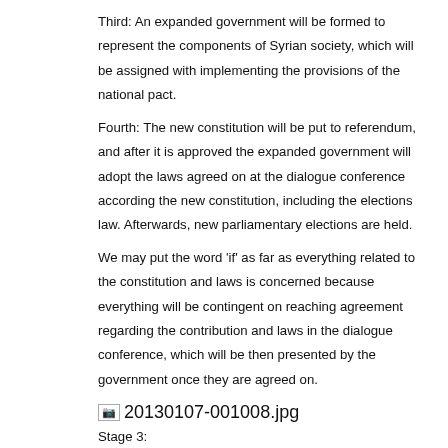Third: An expanded government will be formed to represent the components of Syrian society, which will be assigned with implementing the provisions of the national pact.
Fourth: The new constitution will be put to referendum, and after it is approved the expanded government will adopt the laws agreed on at the dialogue conference according the new constitution, including the elections law. Afterwards, new parliamentary elections are held.
We may put the word 'if' as far as everything related to the constitution and laws is concerned because everything will be contingent on reaching agreement regarding the contribution and laws in the dialogue conference, which will be then presented by the government once they are agreed on.
[Figure (photo): Image placeholder showing filename 20130107-001008.jpg]
Stage 3:
First: A new government will be formed according to the constitution existing at the time.